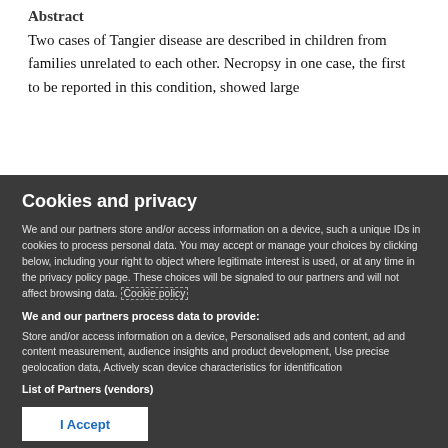Abstract
Two cases of Tangier disease are described in children from families unrelated to each other. Necropsy in one case, the first to be reported in this condition, showed large
Cookies and privacy
We and our partners store and/or access information on a device, such a unique IDs in cookies to process personal data. You may accept or manage your choices by clicking below, including your right to object where legitimate interest is used, or at any time in the privacy policy page. These choices will be signaled to our partners and will not affect browsing data. Cookie policy
We and our partners process data to provide:
Store and/or access information on a device, Personalised ads and content, ad and content measurement, audience insights and product development, Use precise geolocation data, Actively scan device characteristics for identification
List of Partners (vendors)
I Accept